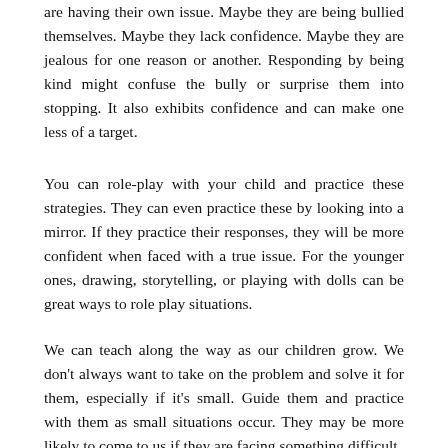are having their own issue. Maybe they are being bullied themselves. Maybe they lack confidence. Maybe they are jealous for one reason or another. Responding by being kind might confuse the bully or surprise them into stopping. It also exhibits confidence and can make one less of a target.
You can role-play with your child and practice these strategies. They can even practice these by looking into a mirror. If they practice their responses, they will be more confident when faced with a true issue. For the younger ones, drawing, storytelling, or playing with dolls can be great ways to role play situations.
We can teach along the way as our children grow. We don't always want to take on the problem and solve it for them, especially if it's small. Guide them and practice with them as small situations occur. They may be more likely to come to us if they are facing something difficult.